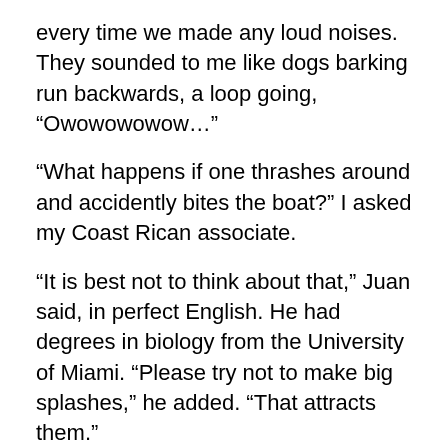every time we made any loud noises. They sounded to me like dogs barking run backwards, a loop going, “Owowowowowow…”
“What happens if one thrashes around and accidently bites the boat?” I asked my Coast Rican associate.
“It is best not to think about that,” Juan said, in perfect English. He had degrees in biology from the University of Miami. “Please try not to make big splashes,” he added. “That attracts them.”
I made an effort to slide silently over the side into the front of the boat, which was basically a long yellow raft with an outboard motor. I was careful not to splash or drop my camera, as Juan tried to crank the old Evinrude bolted to the stern. It was a 9.9